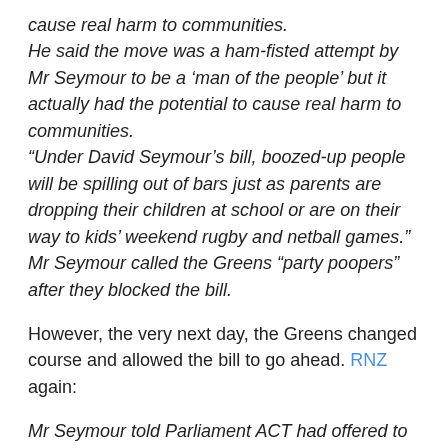cause real harm to communities. He said the move was a ham-fisted attempt by Mr Seymour to be a ‘man of the people’ but it actually had the potential to cause real harm to communities. “Under David Seymour’s bill, boozed-up people will be spilling out of bars just as parents are dropping their children at school or are on their way to kids’ weekend rugby and netball games.” Mr Seymour called the Greens “party poopers” after they blocked the bill.
However, the very next day, the Greens changed course and allowed the bill to go ahead. RNZ again:
Mr Seymour told Parliament ACT had offered to make changes to the bill to get the Greens’ support. “Politics is often the art of compromise and if this bill